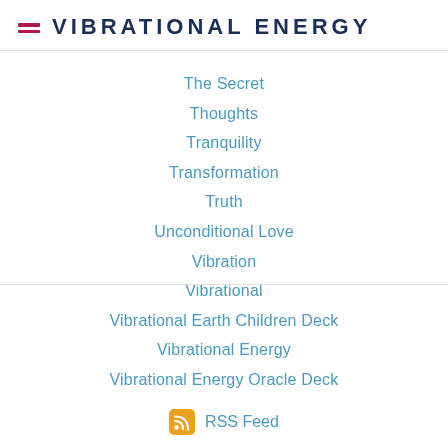VIBRATIONAL ENERGY
The Secret
Thoughts
Tranquility
Transformation
Truth
Unconditional Love
Vibration
Vibrational
Vibrational Earth Children Deck
Vibrational Energy
Vibrational Energy Oracle Deck
RSS Feed